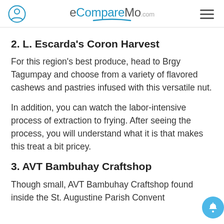eCompareMo.com
2. L. Escarda's Coron Harvest
For this region's best produce, head to Brgy Tagumpay and choose from a variety of flavored cashews and pastries infused with this versatile nut.
In addition, you can watch the labor-intensive process of extraction to frying. After seeing the process, you will understand what it is that makes this treat a bit pricey.
3. AVT Bambuhay Craftshop
Though small, AVT Bambuhay Craftshop found inside the St. Augustine Parish Convent